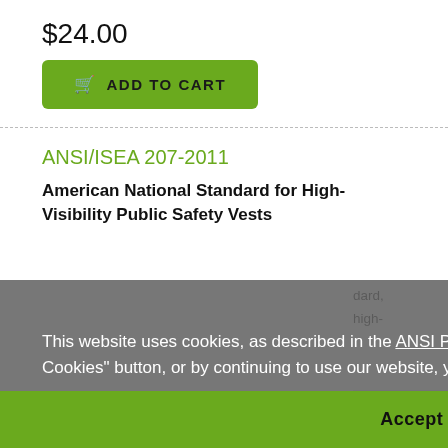$24.00
ADD TO CART
ANSI/ISEA 207-2011
American National Standard for High-Visibility Public Safety Vests
This website uses cookies, as described in the ANSI Privacy Policy. By clicking on the "Accept All Cookies" button, or by continuing to use our website, you consent to all cookies.
Accept All Cookies
$60.00